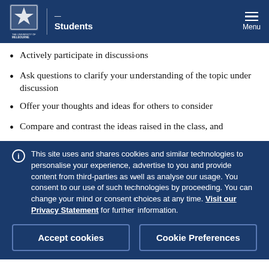Students
Actively participate in discussions
Ask questions to clarify your understanding of the topic under discussion
Offer your thoughts and ideas for others to consider
Compare and contrast the ideas raised in the class, and
This site uses and shares cookies and similar technologies to personalise your experience, advertise to you and provide content from third-parties as well as analyse our usage. You consent to our use of such technologies by proceeding. You can change your mind or consent choices at any time. Visit our Privacy Statement for further information.
Accept cookies | Cookie Preferences